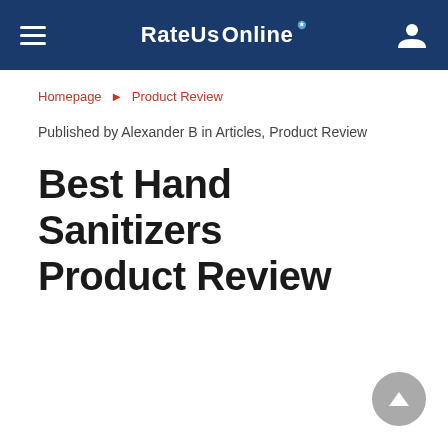RateUsOnline
Homepage ► Product Review
Published by Alexander B in Articles, Product Review
Best Hand Sanitizers Product Review